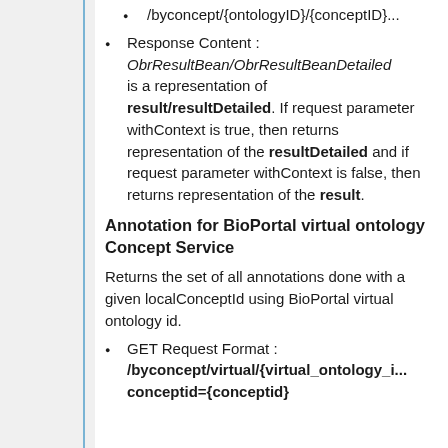/byconcept/{ontologyID}/{conceptID}...
Response Content : ObrResultBean/ObrResultBeanDetailed is a representation of result/resultDetailed. If request parameter withContext is true, then returns representation of the resultDetailed and if request parameter withContext is false, then returns representation of the result.
Annotation for BioPortal virtual ontology Concept Service
Returns the set of all annotations done with a given localConceptId using BioPortal virtual ontology id.
GET Request Format : /byconcept/virtual/{virtual_ontology_i... conceptid={conceptid}